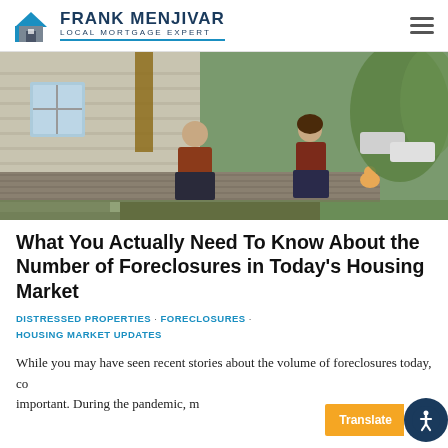FRANK MENJIVAR LOCAL MORTGAGE EXPERT
[Figure (photo): A man and a woman sitting on the steps/porch of a house, holding coffee cups, chatting outdoors on a wooden deck surrounded by green trees.]
What You Actually Need To Know About the Number of Foreclosures in Today's Housing Market
DISTRESSED PROPERTIES · FORECLOSURES · HOUSING MARKET UPDATES
While you may have seen recent stories about the volume of foreclosures today, co... important. During the pandemic, m...